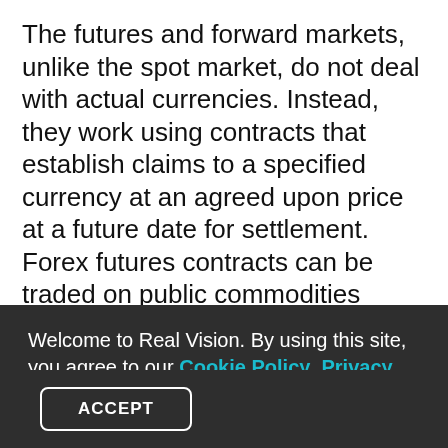The futures and forward markets, unlike the spot market, do not deal with actual currencies. Instead, they work using contracts that establish claims to a specified currency at an agreed upon price at a future date for settlement. Forex futures contracts can be traded on public commodities exchanges, such as the Chicago Mercantile Exchange. Forwards contracts, on the other hand, are bought and sold OTC, which allows for customization of the contracts while at the same hampering standardized trading.
Welcome to Real Vision. By using this site, you agree to our Cookie Policy, Privacy Policy & Terms & Conditions.
ACCEPT